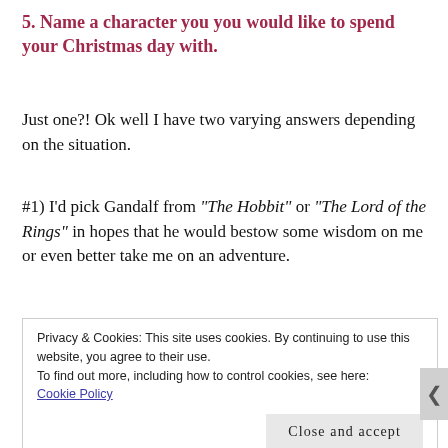5. Name a character you you would like to spend your Christmas day with.
Just one?! Ok well I have two varying answers depending on the situation.
#1) I'd pick Gandalf from “The Hobbit” or “The Lord of the Rings” in hopes that he would bestow some wisdom on me or even better take me on an adventure.
Privacy & Cookies: This site uses cookies. By continuing to use this website, you agree to their use.
To find out more, including how to control cookies, see here:
Cookie Policy
Close and accept